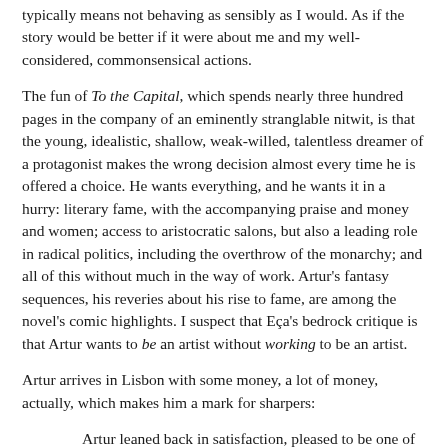typically means not behaving as sensibly as I would. As if the story would be better if it were about me and my well-considered, commonsensical actions.
The fun of To the Capital, which spends nearly three hundred pages in the company of an eminently stranglable nitwit, is that the young, idealistic, shallow, weak-willed, talentless dreamer of a protagonist makes the wrong decision almost every time he is offered a choice. He wants everything, and he wants it in a hurry: literary fame, with the accompanying praise and money and women; access to aristocratic salons, but also a leading role in radical politics, including the overthrow of the monarchy; and all of this without much in the way of work. Artur's fantasy sequences, his reveries about his rise to fame, are among the novel's comic highlights. I suspect that Eça's bedrock critique is that Artur wants to be an artist without working to be an artist.
Artur arrives in Lisbon with some money, a lot of money, actually, which makes him a mark for sharpers:
Artur leaned back in satisfaction, pleased to be one of the clique… Then Meirinho remembered